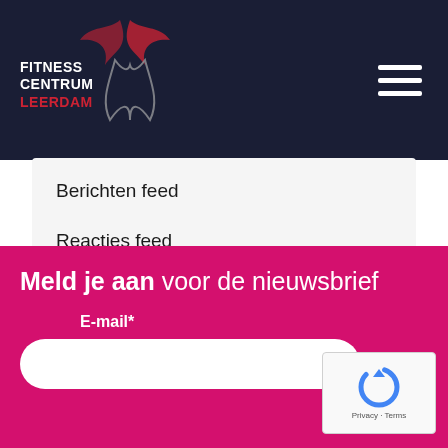FITNESS CENTRUM LEERDAM
Berichten feed
Reacties feed
WordPress.org
Meld je aan voor de nieuwsbrief
E-mail*